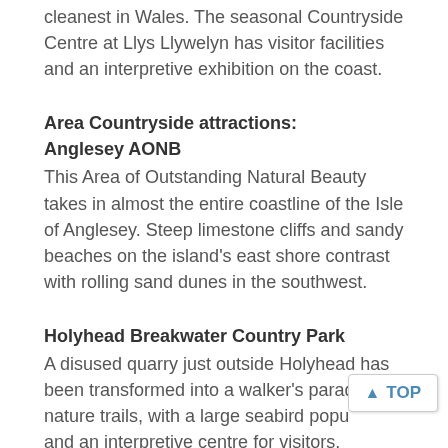cleanest in Wales. The seasonal Countryside Centre at Llys Llywelyn has visitor facilities and an interpretive exhibition on the coast.
Area Countryside attractions: Anglesey AONB
This Area of Outstanding Natural Beauty takes in almost the entire coastline of the Isle of Anglesey. Steep limestone cliffs and sandy beaches on the island's east shore contrast with rolling sand dunes in the southwest.
Holyhead Breakwater Country Park
A disused quarry just outside Holyhead has been transformed into a walker's paradise of nature trails, with a large seabird popu and an interpretive centre for visitors.